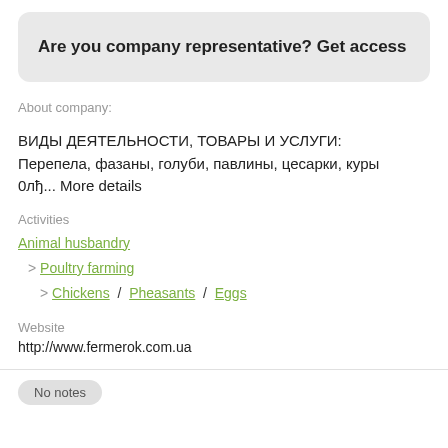Are you company representative? Get access
About company:
ВИДЫ ДЕЯТЕЛЬНОСТИ, ТОВАРЫ И УСЛУГИ: Перепела, фазаны, голуби, павлины, цесарки, куры 0лђ... More details
Activities
Animal husbandry
> Poultry farming
> Chickens / Pheasants / Eggs
Website
http://www.fermerok.com.ua
No notes